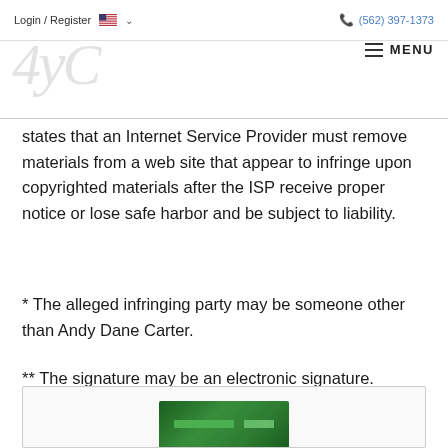Login / Register  (562) 397-1373  MENU
[Figure (logo): 4yC stylized logo in light gray italic font]
states that an Internet Service Provider must remove materials from a web site that appear to infringe upon copyrighted materials after the ISP receive proper notice or lose safe harbor and be subject to liability.
* The alleged infringing party may be someone other than Andy Dane Carter.
** The signature may be an electronic signature.
[Figure (photo): Partial image of a green circuit board or electronic component at bottom of page]